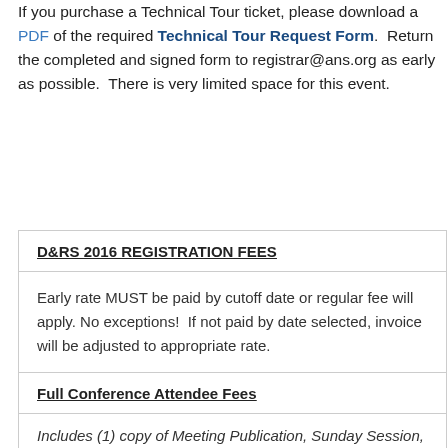If you purchase a Technical Tour ticket, please download a PDF of the required Technical Tour Request Form.  Return the completed and signed form to registrar@ans.org as early as possible.  There is very limited space for this event.
D&RS 2016 REGISTRATION FEES
Early rate MUST be paid by cutoff date or regular fee will apply. No exceptions!  If not paid by date selected, invoice will be adjusted to appropriate rate.
Full Conference Attendee Fees
Includes (1) copy of Meeting Publication, Sunday Session, Reception, Tuesday Session, Banquet, All